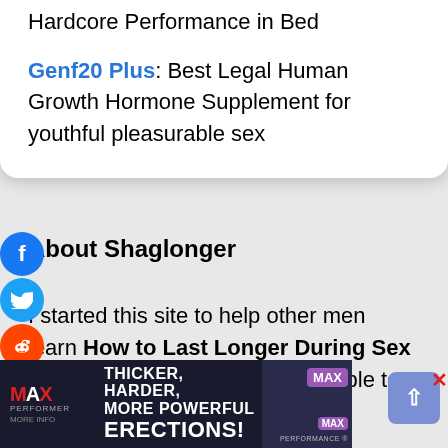Hardcore Performance in Bed
Genf20 Plus: Best Legal Human Growth Hormone Supplement for youthful pleasurable sex
About Shaglonger
I started this site to help other men learn How to Last Longer During Sex after I myself suffered and was able to get rid of Premature Ejaculation
[Figure (infographic): Advertisement banner for MAXPerformer with text THICKER, HARDER, MORE POWERFUL ERECTIONS! with male figure and MAX branding]
[Figure (other): Social media share icons: Facebook, Twitter, Reddit stacked vertically on left edge]
[Figure (other): Back to top button (upward arrow in blue-grey square) and red X close button]